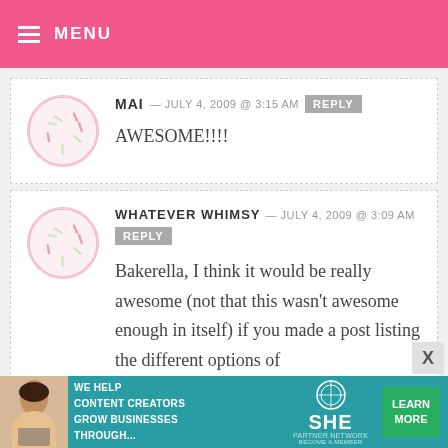MENU
MAI — JULY 4, 2009 @ 3:15 AM [REPLY]
AWESOME!!!!
WHATEVER WHIMSY — JULY 4, 2009 @ 3:09 AM [REPLY]
Bakerella, I think it would be really awesome (not that this wasn't awesome enough in itself) if you made a post listing the different options of
[Figure (infographic): Banner advertisement: WE HELP CONTENT CREATORS GROW BUSINESSES THROUGH... SHE PARTNER NETWORK BECOME A MEMBER. LEARN MORE button. Woman with laptop photo on left.]